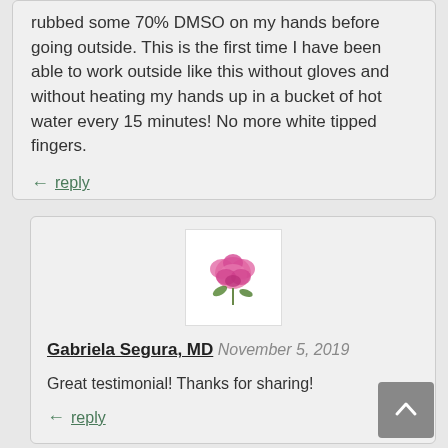rubbed some 70% DMSO on my hands before going outside. This is the first time I have been able to work outside like this without gloves and without heating my hands up in a bucket of hot water every 15 minutes! No more white tipped fingers.
reply
[Figure (photo): Avatar image of a pink rose flower on white background]
Gabriela Segura, MD   November 5, 2019
Great testimonial! Thanks for sharing!
reply